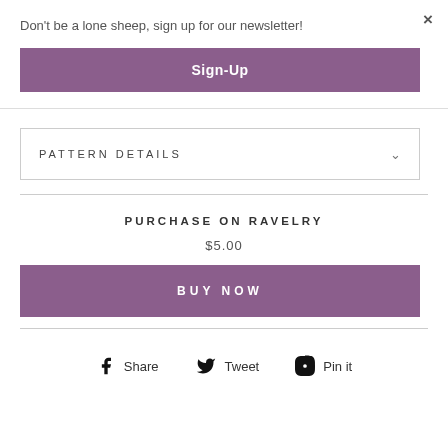Don't be a lone sheep, sign up for our newsletter!
×
Sign-Up
PATTERN DETAILS
PURCHASE ON RAVELRY
$5.00
BUY NOW
Share
Tweet
Pin it